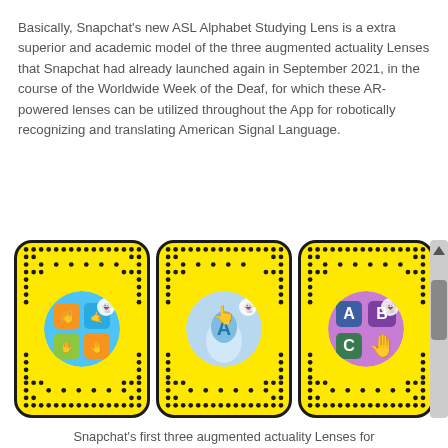Basically, Snapchat's new ASL Alphabet Studying Lens is a extra superior and academic model of the three augmented actuality Lenses that Snapchat had already launched again in September 2021, in the course of the Worldwide Week of the Deaf, for which these AR-powered lenses can be utilized throughout the App for robotically recognizing and translating American Signal Language.
[Figure (photo): Three Snapchat Snapcode QR cards with yellow backgrounds and dot patterns, each containing a circular icon: first shows ASL hand signs with colorful tiles, second shows a hand pointing at the letter A with a glowing blue background, third shows letters A, B, C with hand signs on a purple/pink background.]
Snapchat's first three augmented actuality Lenses for